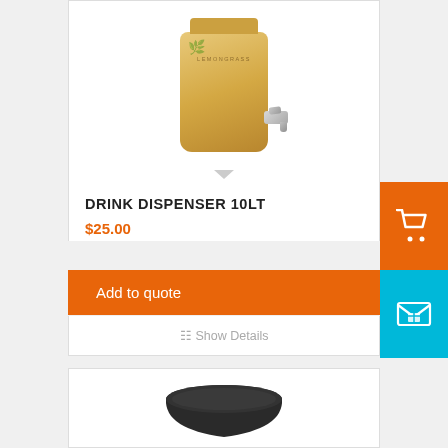[Figure (photo): Partial view of a drink dispenser product — ceramic/glass jar with a metal faucet and leaf decoration on a white background]
DRINK DISPENSER 10LT
$25.00
Add to quote
Show Details
[Figure (photo): Partial view of a black bowl product on white background]